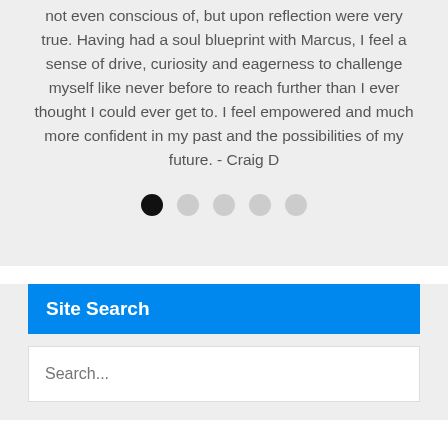not even conscious of, but upon reflection were very true. Having had a soul blueprint with Marcus, I feel a sense of drive, curiosity and eagerness to challenge myself like never before to reach further than I ever thought I could ever get to. I feel empowered and much more confident in my past and the possibilities of my future. - Craig D
[Figure (other): Carousel pagination dots: one black filled circle followed by four grey filled circles]
Site Search
Search...